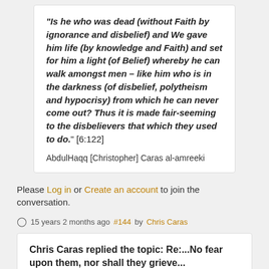"Is he who was dead (without Faith by ignorance and disbelief) and We gave him life (by knowledge and Faith) and set for him a light (of Belief) whereby he can walk amongst men – like him who is in the darkness (of disbelief, polytheism and hypocrisy) from which he can never come out? Thus it is made fair-seeming to the disbelievers that which they used to do." [6:122]
AbdulHaqq [Christopher] Caras al-amreeki
Please Log in or Create an account to join the conversation.
15 years 2 months ago #144 by Chris Caras
Chris Caras replied the topic: Re:...No fear upon them, nor shall they grieve...